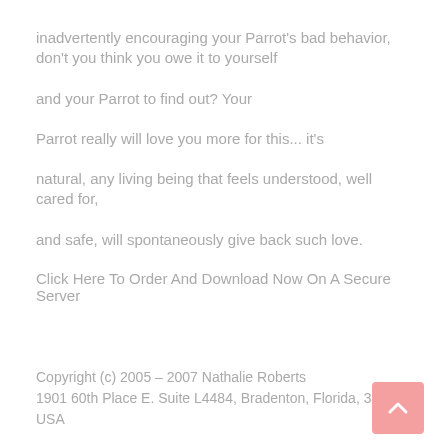inadvertently encouraging your Parrot's bad behavior, don't you think you owe it to yourself
and your Parrot to find out? Your
Parrot really will love you more for this... it's
natural, any living being that feels understood, well cared for,
and safe, will spontaneously give back such love.
Click Here To Order And Download Now On A Secure Server
Copyright (c) 2005 – 2007 Nathalie Roberts
1901 60th Place E. Suite L4484, Bradenton, Florida, 34203, USA